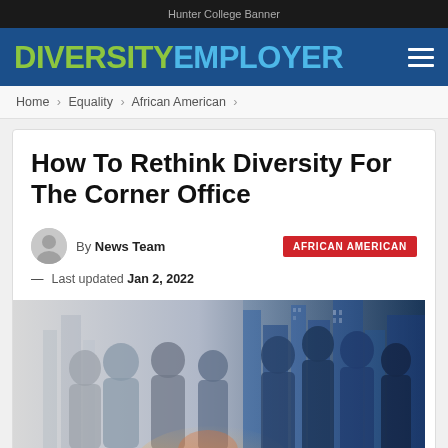Hunter College Banner
DIVERSITY EMPLOYER
Home > Equality > African American >
How To Rethink Diversity For The Corner Office
By News Team
AFRICAN AMERICAN
— Last updated Jan 2, 2022
[Figure (photo): Silhouetted diverse business people in a double-exposure style image with city skyline, representing workplace diversity]